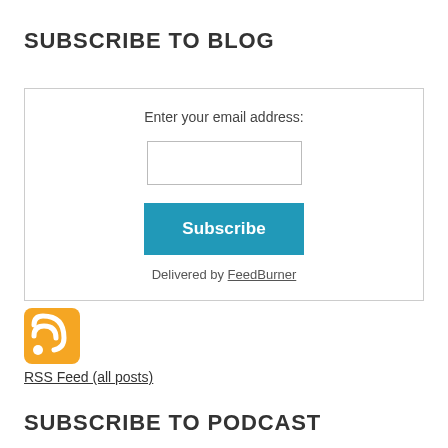SUBSCRIBE TO BLOG
[Figure (screenshot): A subscribe form widget with a text input field for email address, a teal 'Subscribe' button, and a 'Delivered by FeedBurner' link below, all inside a bordered box.]
[Figure (other): Orange RSS feed icon]
RSS Feed (all posts)
SUBSCRIBE TO PODCAST